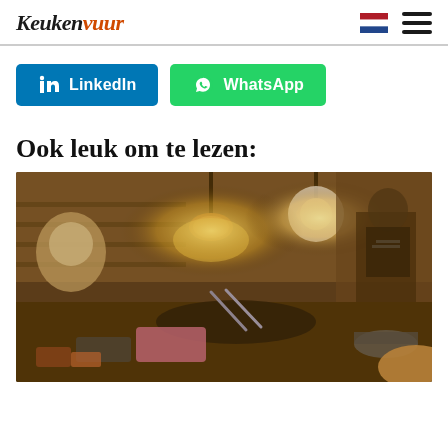Keukenvuur
[Figure (logo): LinkedIn share button (blue) and WhatsApp share button (green)]
Ook leuk om te lezen:
[Figure (photo): Sepia-toned photo of a street food kitchen scene with bright overhead lamps, cooking equipment, and a person in the background]